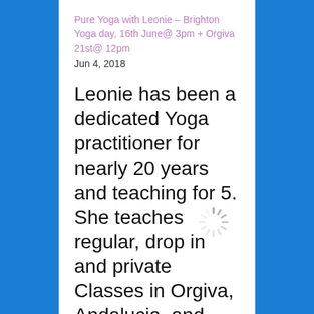Pure Yoga with Leonie – Brighton Yoga day, 16th June@ 3pm + Orgiva 21st@ 12pm
Jun 4, 2018
Leonie has been a dedicated Yoga practitioner for nearly 20 years and teaching for 5. She teaches regular, drop in and private Classes in Orgiva, Andalucia, and
[Figure (other): Loading spinner icon (circular dashed/spoked wheel in gray)]